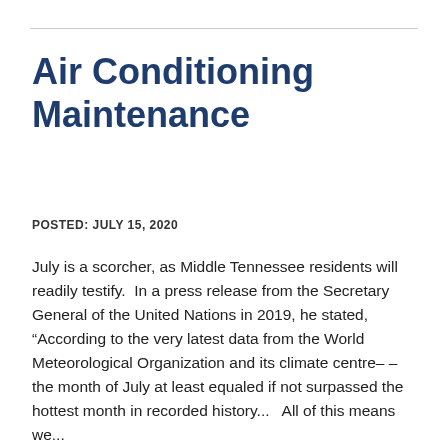Air Conditioning Maintenance
POSTED: JULY 15, 2020
July is a scorcher, as Middle Tennessee residents will readily testify.  In a press release from the Secretary General of the United Nations in 2019, he stated, “According to the very latest data from the World Meteorological Organization and its climate centre– – the month of July at least equaled if not surpassed the hottest month in recorded history...   All of this means we...